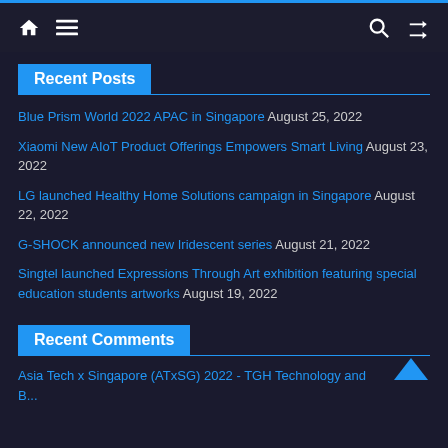Navigation bar with home, menu, search, and shuffle icons
Recent Posts
Blue Prism World 2022 APAC in Singapore August 25, 2022
Xiaomi New AIoT Product Offerings Empowers Smart Living August 23, 2022
LG launched Healthy Home Solutions campaign in Singapore August 22, 2022
G-SHOCK announced new Iridescent series August 21, 2022
Singtel launched Expressions Through Art exhibition featuring special education students artworks August 19, 2022
Recent Comments
Asia Tech x Singapore (ATxSG) 2022 - TGH Technology and ...